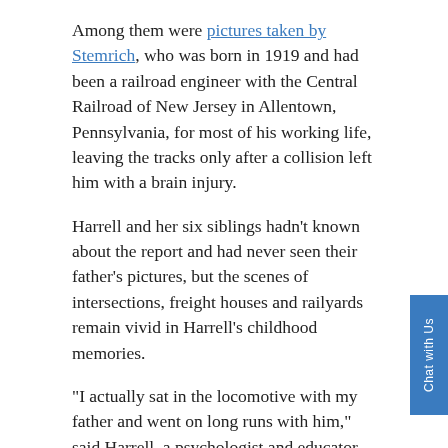Among them were pictures taken by Stemrich, who was born in 1919 and had been a railroad engineer with the Central Railroad of New Jersey in Allentown, Pennsylvania, for most of his working life, leaving the tracks only after a collision left him with a brain injury.
Harrell and her six siblings hadn't known about the report and had never seen their father's pictures, but the scenes of intersections, freight houses and railyards remain vivid in Harrell's childhood memories.
“I actually sat in the locomotive with my father and went on long runs with him,” said Harrell, a psychologist and educator living in South Carolina.
Discovering the photographs also shed light on an incident late in her father’s life: Early one wintry morning, Stemrich, who was suffering from Alzheimer’s disease, managed to slip out of the house and was later found by...